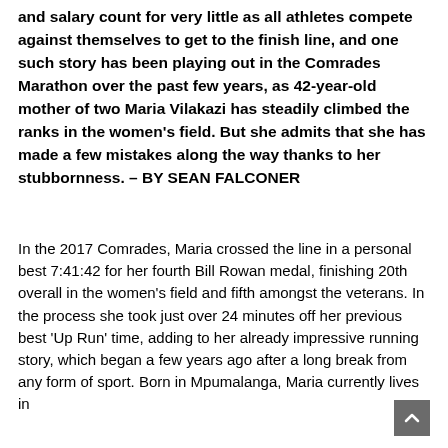and salary count for very little as all athletes compete against themselves to get to the finish line, and one such story has been playing out in the Comrades Marathon over the past few years, as 42-year-old mother of two Maria Vilakazi has steadily climbed the ranks in the women's field. But she admits that she has made a few mistakes along the way thanks to her stubbornness. – BY SEAN FALCONER
In the 2017 Comrades, Maria crossed the line in a personal best 7:41:42 for her fourth Bill Rowan medal, finishing 20th overall in the women's field and fifth amongst the veterans. In the process she took just over 24 minutes off her previous best 'Up Run' time, adding to her already impressive running story, which began a few years ago after a long break from any form of sport. Born in Mpumalanga, Maria currently lives in